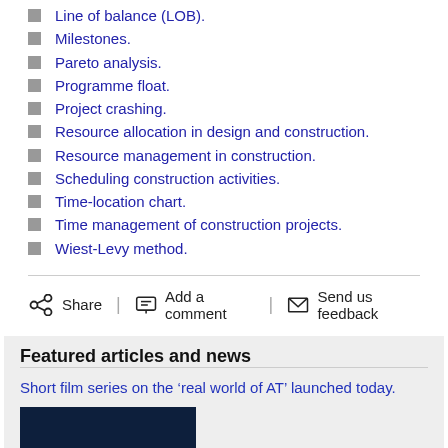Line of balance (LOB).
Milestones.
Pareto analysis.
Programme float.
Project crashing.
Resource allocation in design and construction.
Resource management in construction.
Scheduling construction activities.
Time-location chart.
Time management of construction projects.
Wiest-Levy method.
Share | Add a comment | Send us feedback
Featured articles and news
Short film series on the ‘real world of AT’ launched today.